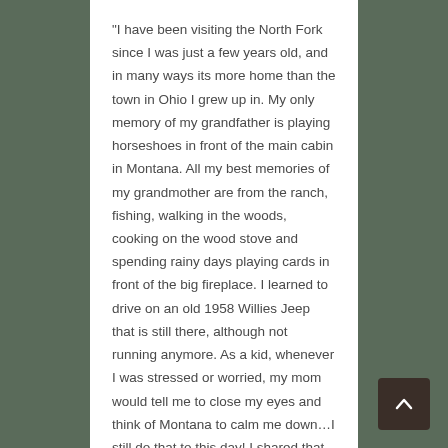“I have been visiting the North Fork since I was just a few years old, and in many ways its more home than the town in Ohio I grew up in. My only memory of my grandfather is playing horseshoes in front of the main cabin in Montana. All my best memories of my grandmother are from the ranch, fishing, walking in the woods, cooking on the wood stove and spending rainy days playing cards in front of the big fireplace. I learned to drive on an old 1958 Willies Jeep that is still there, although not running anymore. As a kid, whenever I was stressed or worried, my mom would tell me to close my eyes and think of Montana to calm me down…I still do that to this day! I shared that with my wife who has grown to love the ranch so much